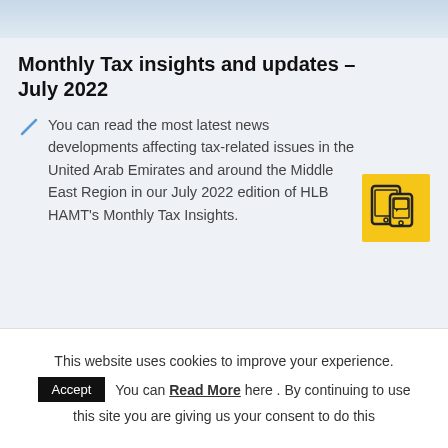[Figure (photo): Top banner image showing a light blue/grey sky or background]
Monthly Tax insights and updates – July 2022
You can read the most latest news developments affecting tax-related issues in the United Arab Emirates and around the Middle East Region in our July 2022 edition of HLB HAMT's Monthly Tax Insights.
[Figure (illustration): Yellow icon showing a tablet/phone with document and chat bubble]
This website uses cookies to improve your experience.
Accept  You can Read More here . By continuing to use this site you are giving us your consent to do this